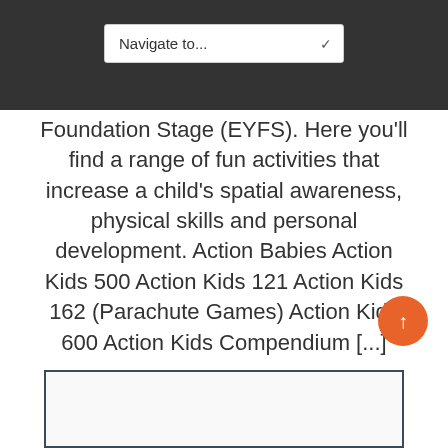Navigate to...
Foundation Stage (EYFS). Here you'll find a range of fun activities that increase a child's spatial awareness, physical skills and personal development. Action Babies Action Kids 500 Action Kids 121 Action Kids 162 (Parachute Games) Action Kids 600 Action Kids Compendium [...]
[Figure (other): Card or content box partially visible at the bottom of the page]